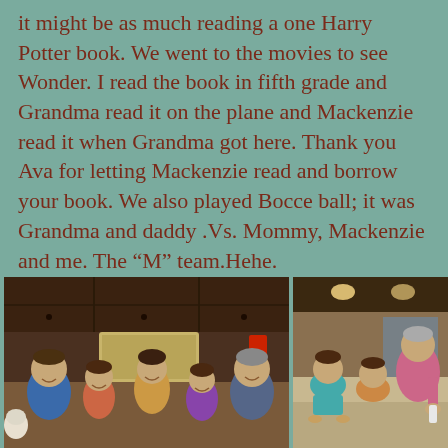it might be as much reading a one Harry Potter book. We went to the movies to see Wonder. I read the book in fifth grade and Grandma read it on the plane and Mackenzie read it when Grandma got here. Thank you Ava for letting Mackenzie read and borrow your book. We also played Bocce ball; it was Grandma and daddy .Vs. Mommy, Mackenzie and me. The “M” team.Hehe.
[Figure (photo): Family group photo inside an RV or motor home with dark wood cabinets, showing a man, three girls, and a woman smiling at the camera]
[Figure (photo): Interior of RV showing children and an older woman interacting, with tan/beige seating visible]